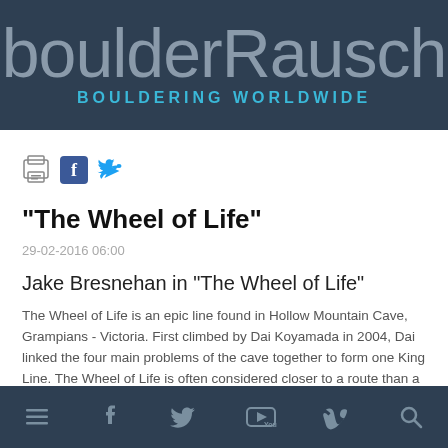boulderRausch — BOULDERING WORLDWIDE
[Figure (other): Social sharing icons: print, Facebook, Twitter]
"The Wheel of Life"
29-02-2016 06:00
Jake Bresnehan in "The Wheel of Life"
The Wheel of Life is an epic line found in Hollow Mountain Cave, Grampians - Victoria. First climbed by Dai Koyamada in 2004, Dai linked the four main problems of the cave together to form one King Line. The Wheel of Life is often considered closer to a route than a boulder problem and so given the
Navigation icons: menu, facebook, twitter, youtube, vimeo, search